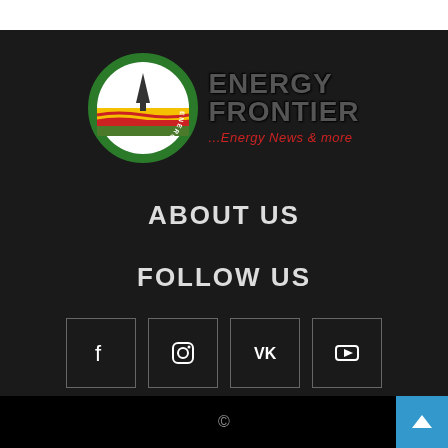[Figure (logo): Energy Frontier circular logo with oil derrick and colored stripes, alongside the text 'ENERGY FRONTIER ...Energy News & more']
ABOUT US
FOLLOW US
[Figure (infographic): Social media icons row: Facebook, Instagram, VK, YouTube — each in a square border box]
©